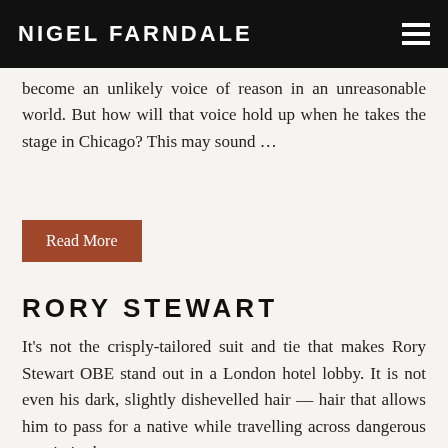NIGEL FARNDALE
become an unlikely voice of reason in an unreasonable world. But how will that voice hold up when he takes the stage in Chicago? This may sound …
Read More
RORY STEWART
It's not the crisply-tailored suit and tie that makes Rory Stewart OBE stand out in a London hotel lobby. It is not even his dark, slightly dishevelled hair — hair that allows him to pass for a native while travelling across dangerous terrain in the